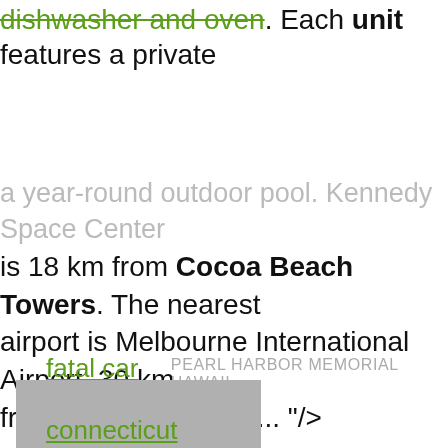dishwasher and oven. Each unit features a private
a year-round outdoor pool. Kennedy Space Center is 18 km from Cocoa Beach Towers. The nearest airport is Melbourne International Airport, 30 km from Cocoa Beach .... "/>
fatal car accident connecticut   PEARL HARBOR MEMORIAL HAWAII